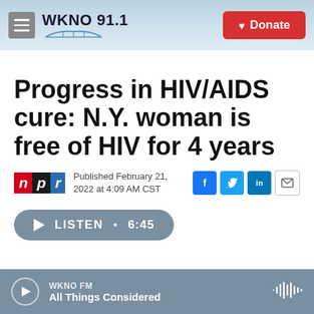WKNO 91.1 | Donate
Progress in HIV/AIDS cure: N.Y. woman is free of HIV for 4 years
Published February 21, 2022 at 4:09 AM CST
WKNO FM — All Things Considered